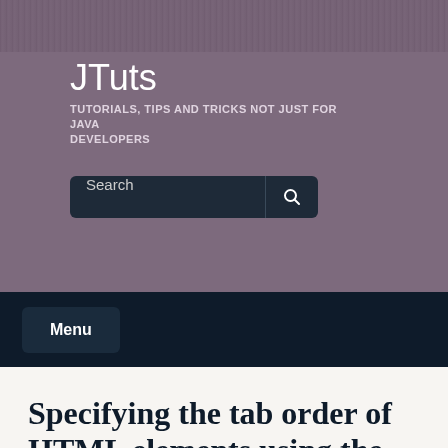JTuts
TUTORIALS, TIPS AND TRICKS NOT JUST FOR JAVA DEVELOPERS
[Figure (screenshot): Search input box with dark background and search icon button]
Menu
Specifying the tab order of HTML elements using the